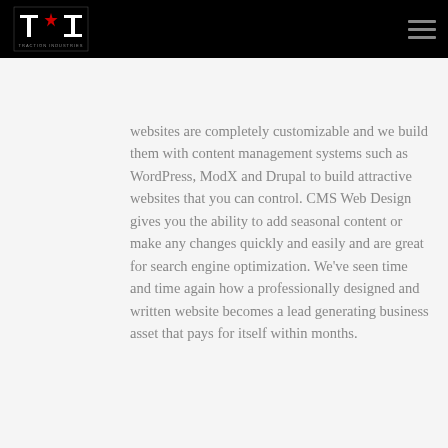[Figure (logo): Traction Industries logo — stylized 'TI' letters in white on black background with a red star accent]
websites are completely customizable and we build them with content management systems such as WordPress, ModX and Drupal to build attractive websites that you can control. CMS Web Design gives you the ability to add seasonal content or make any changes quickly and easily and are great for search engine optimization. We've seen time and time again how a professionally designed and written website becomes a lead generating business asset that pays for itself within months.